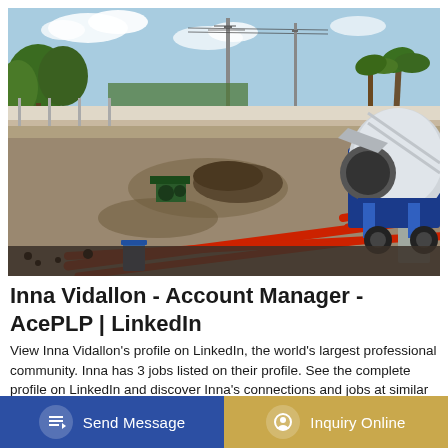[Figure (photo): Construction site with red pipes on gravel ground, a concrete mixer truck on the right, power lines and trees in background, blue sky with clouds]
Inna Vidallon - Account Manager - AcePLP | LinkedIn
View Inna Vidallon's profile on LinkedIn, the world's largest professional community. Inna has 3 jobs listed on their profile. See the complete profile on LinkedIn and discover Inna's connections and jobs at similar companies.